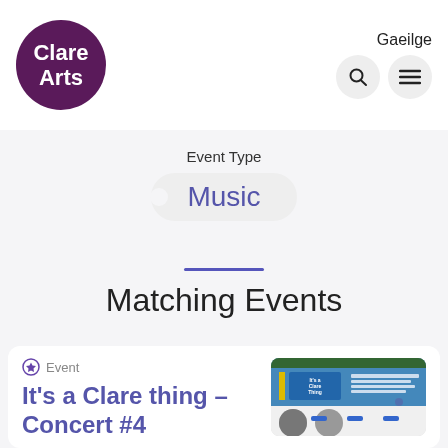[Figure (logo): Clare Arts circular purple logo with white text]
Gaeilge
Event Type
Music
Matching Events
Event
It's a Clare thing – Concert #4
[Figure (screenshot): Screenshot thumbnail of Clare Arts 'It's a Clare Thing' event webpage]